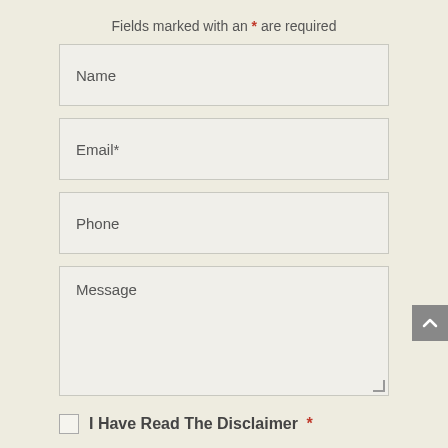Fields marked with an * are required
Name
Email*
Phone
Message
I Have Read The Disclaimer *